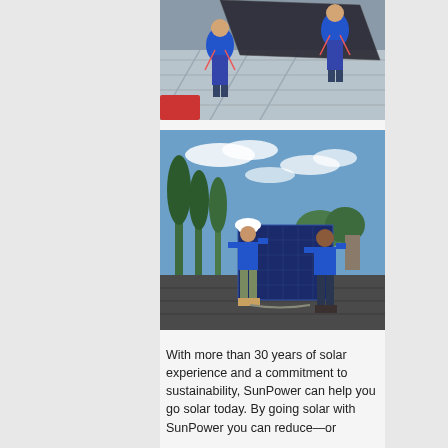[Figure (photo): Two workers in blue shirts and safety harnesses installing a large dark solar panel on a metal roof, viewed from above.]
[Figure (photo): Two workers in blue shirts carrying and positioning a large solar panel on a rooftop under a bright blue sky with trees in the background.]
With more than 30 years of solar experience and a commitment to sustainability, SunPower can help you go solar today. By going solar with SunPower you can reduce—or